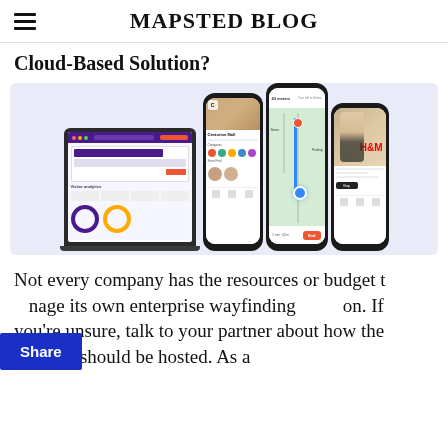MAPSTED BLOG
Cloud-Based Solution?
[Figure (screenshot): Screenshot mockup showing a laptop and three smartphones displaying the Mapsted indoor navigation/wayfinding platform interface, including a dashboard, mall navigation app with categories and store listings, a turn-by-turn map view, and a fashion store product page (H&M), all on a light purple/lavender background.]
Not every company has the resources or budget to manage its own enterprise wayfinding solution. If you're unsure, talk to your partner about how the solution should be hosted. As a